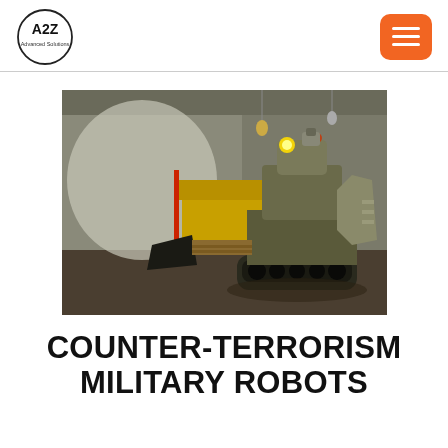A2Z Advanced Solutions
[Figure (photo): A military/counter-terrorism ground robot vehicle on tank treads inside a warehouse or hangar. The robot is olive/khaki colored with lights and sensors on top. In the background are various equipment and what appears to be a yellow machine.]
COUNTER-TERRORISM MILITARY ROBOTS